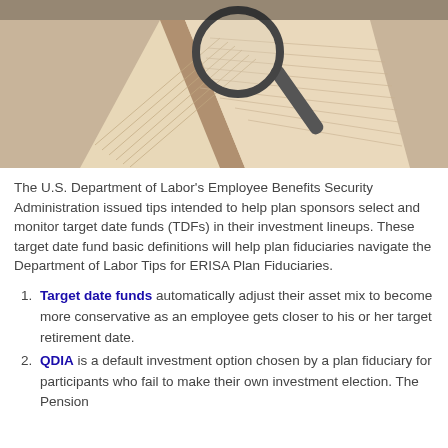[Figure (photo): Sepia-toned photograph of an open book with a magnifying glass resting on it, pages visible with text]
The U.S. Department of Labor's Employee Benefits Security Administration issued tips intended to help plan sponsors select and monitor target date funds (TDFs) in their investment lineups. These target date fund basic definitions will help plan fiduciaries navigate the Department of Labor Tips for ERISA Plan Fiduciaries.
Target date funds automatically adjust their asset mix to become more conservative as an employee gets closer to his or her target retirement date.
QDIA is a default investment option chosen by a plan fiduciary for participants who fail to make their own investment election. The Pension